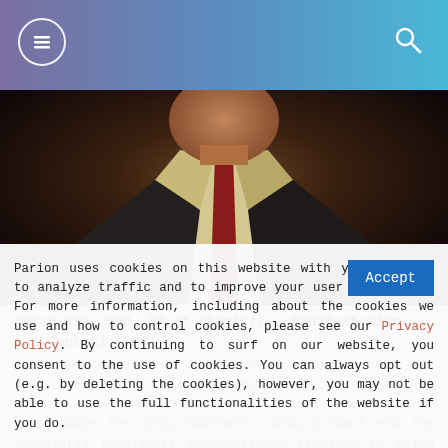Navigation bar with menu and search icons
[Figure (photo): Close-up photo of a person in a dark suit with a red tie and light-colored shirt, cropped to show torso/collar area]
Brian Bray PhD, VP of Chemistry, Manufacturing and Control (CMC)
Brian Bray has over 25 years of experience in the development side of the pharmaceutical industry.  He joined Parion in 2015 as VP of CMC and will be responsible for drug substance, drug product and the associated regulatory documentation required to bring new chemical
Parion uses cookies on this website with your consent to analyze traffic and to improve your user experience. For more information, including about the cookies we use and how to control cookies, please see our Privacy Policy. By continuing to surf on our website, you consent to the use of cookies. You can always opt out (e.g. by deleting the cookies), however, you may not be able to use the full functionalities of the website if you do.